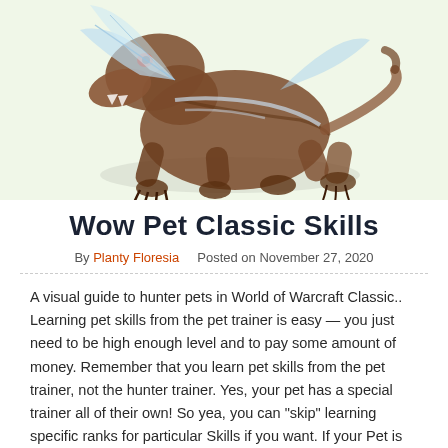[Figure (illustration): A fantasy creature resembling a large cat or beast with wings, rendered in a World of Warcraft game art style, on a light green background. The creature is crouching/leaping with claws extended.]
Wow Pet Classic Skills
By Planty Floresia   Posted on November 27, 2020
A visual guide to hunter pets in World of Warcraft Classic.. Learning pet skills from the pet trainer is easy — you just need to be high enough level and to pay some amount of money. Remember that you learn pet skills from the pet trainer, not the hunter trainer. Yes, your pet has a special trainer all of their own! So yea, you can "skip" learning specific ranks for particular Skills if you want. If your Pet is already Level 60, you